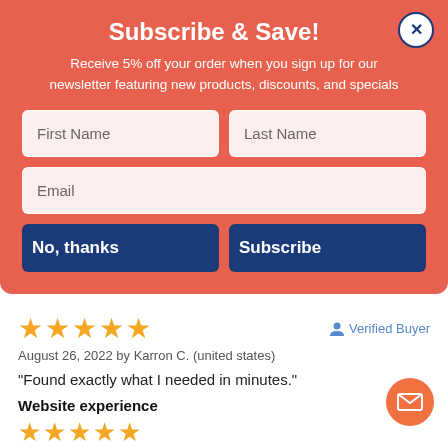Subscribe & Save!
Receive 5% off your order when you sign up for our newsletter featuring new products, discounts, and specials
First Name | Last Name | Email form fields
No, thanks | Subscribe buttons
[Figure (other): 5-star rating row with Verified Buyer badge]
August 26, 2022 by Karron C. (united states)
"Found exactly what I needed in minutes."
Website experience
[Figure (other): 5-star rating for Website experience]
[Figure (other): Second review 5-star rating row with Verified Buyer badge]